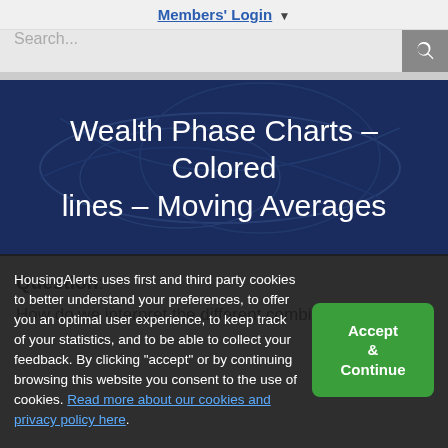Members' Login ▼
Search...
Wealth Phase Charts – Colored lines – Moving Averages
Question:
How do we interpret the different combination of
HousingAlerts uses first and third party cookies to better understand your preferences, to offer you an optimal user experience, to keep track of your statistics, and to be able to collect your feedback. By clicking "accept" or by continuing browsing this website you consent to the use of cookies. Read more about our cookies and privacy policy here.